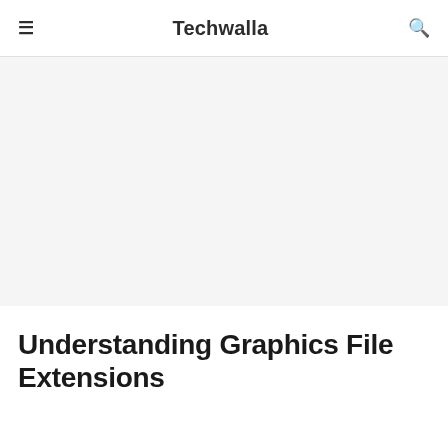≡  Techwalla  🔍
[Figure (other): Large gray advertisement/image placeholder area]
Understanding Graphics File Extensions